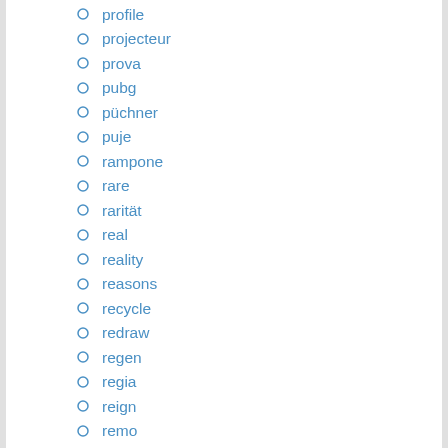profile
projecteur
prova
pubg
püchner
puje
rampone
rare
rarität
real
reality
reasons
recycle
redraw
regen
regia
reign
remo
renato
renishaw